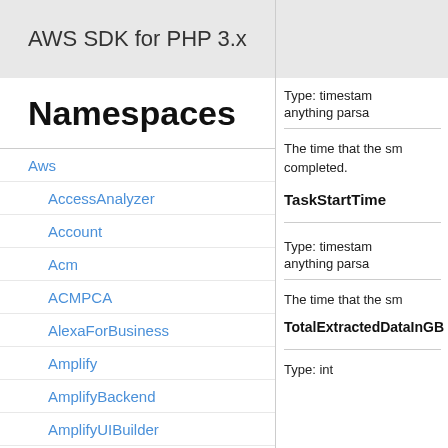AWS SDK for PHP 3.x
Namespaces
Aws
AccessAnalyzer
Account
Acm
ACMPCA
AlexaForBusiness
Amplify
AmplifyBackend
AmplifyUIBuilder
Api
ApiGateway
ApiGatewayManagementApi
Type: timestamp
anything parsa
The time that the sm completed.
TaskStartTime
Type: timestamp
anything parsa
The time that the sm
TotalExtractedDataInGB
Type: int